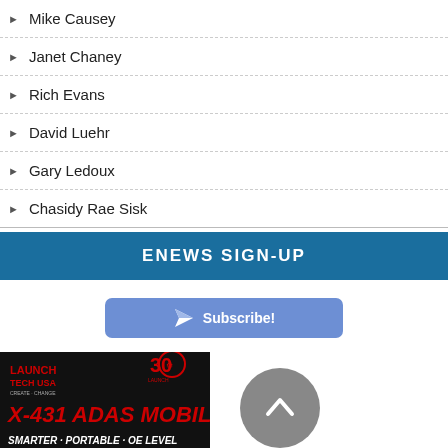Mike Causey
Janet Chaney
Rich Evans
David Luehr
Gary Ledoux
Chasidy Rae Sisk
ENEWS SIGN-UP
[Figure (illustration): Subscribe button with paper airplane icon]
[Figure (illustration): Launch Tech USA X-431 ADAS Mobile advertisement: SMARTER · PORTABLE · OE LEVEL with 30th anniversary logo]
[Figure (illustration): Gray circular back-to-top button with upward chevron arrow]